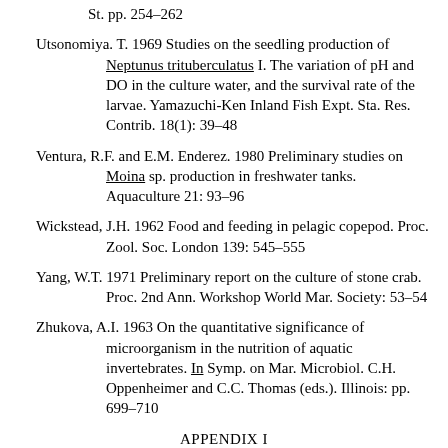St. pp. 254–262
Utsonomiya. T. 1969 Studies on the seedling production of Neptunus trituberculatus I. The variation of pH and DO in the culture water, and the survival rate of the larvae. Yamazuchi-Ken Inland Fish Expt. Sta. Res. Contrib. 18(1): 39–48
Ventura, R.F. and E.M. Enderez. 1980 Preliminary studies on Moina sp. production in freshwater tanks. Aquaculture 21: 93–96
Wickstead, J.H. 1962 Food and feeding in pelagic copepod. Proc. Zool. Soc. London 139: 545–555
Yang, W.T. 1971 Preliminary report on the culture of stone crab. Proc. 2nd Ann. Workshop World Mar. Society: 53–54
Zhukova, A.I. 1963 On the quantitative significance of microorganism in the nutrition of aquatic invertebrates. In Symp. on Mar. Microbiol. C.H. Oppenheimer and C.C. Thomas (eds.). Illinois: pp. 699–710
APPENDIX I
Hirata Medium
|  |  |
| --- | --- |
| Ammonium sulfate | 100–200 g/ton |